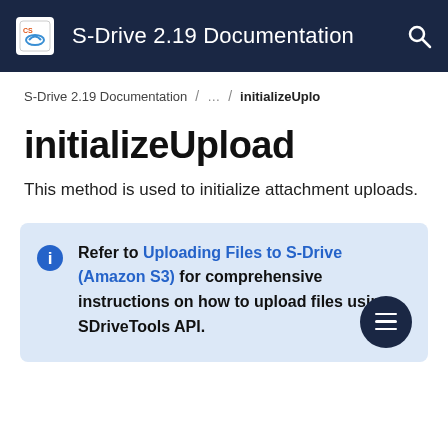S-Drive 2.19 Documentation
S-Drive 2.19 Documentation / ... / initializeUpload
initializeUpload
This method is used to initialize attachment uploads.
Refer to Uploading Files to S-Drive (Amazon S3) for comprehensive instructions on how to upload files using SDriveTools API.